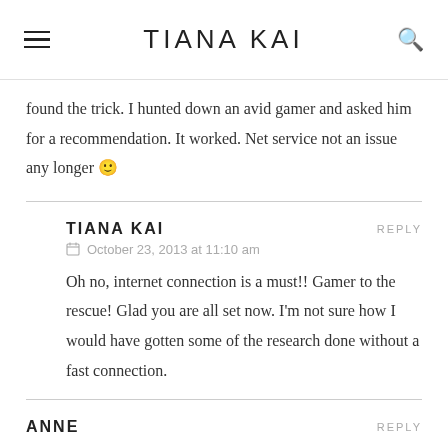TIANA KAI
found the trick. I hunted down an avid gamer and asked him for a recommendation. It worked. Net service not an issue any longer 🙂
TIANA KAI — October 23, 2013 at 11:10 am
Oh no, internet connection is a must!! Gamer to the rescue! Glad you are all set now. I'm not sure how I would have gotten some of the research done without a fast connection.
ANNE